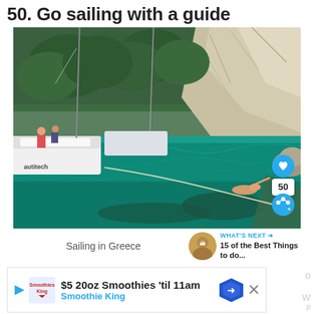50. Go sailing with a guide
[Figure (photo): Aerial view of sailing boats moored near turquoise water with rocky cliffs covered in green trees. A person is swimming in the clear teal water. A catamaran with 'Nautitech' visible is in the foreground left.]
Sailing in Greece
WHAT'S NEXT → 15 of the Best Things to do...
$5 20oz Smoothies 'til 11am Smoothie King